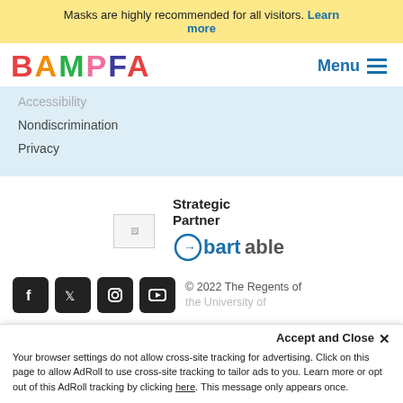Masks are highly recommended for all visitors. Learn more
[Figure (logo): BAMPFA colorful logo with letters B(red), A(orange), M(green), P(pink), F(dark blue), A(red)]
Menu
Accessibility
Nondiscrimination
Privacy
Strategic Partner
[Figure (logo): Placeholder image for strategic partner logo]
[Figure (logo): bartable logo with circle arrow icon]
[Figure (logo): Social media icons: Facebook, Twitter, Instagram, YouTube]
© 2022 The Regents of the University of
Accept and Close ×
Your browser settings do not allow cross-site tracking for advertising. Click on this page to allow AdRoll to use cross-site tracking to tailor ads to you. Learn more or opt out of this AdRoll tracking by clicking here. This message only appears once.